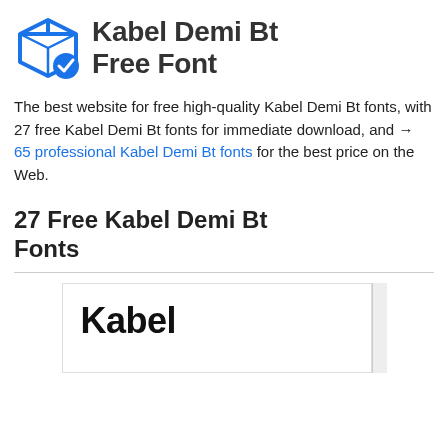Kabel Demi Bt Free Font
The best website for free high-quality Kabel Demi Bt fonts, with 27 free Kabel Demi Bt fonts for immediate download, and → 65 professional Kabel Demi Bt fonts for the best price on the Web.
27 Free Kabel Demi Bt Fonts
[Figure (screenshot): Font preview card showing the word 'Kabel' in bold black large text on a white card with border.]